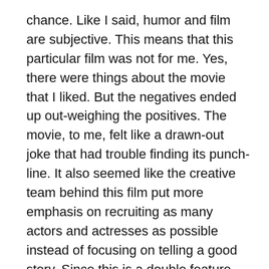chance. Like I said, humor and film are subjective. This means that this particular film was not for me. Yes, there were things about the movie that I liked. But the negatives ended up out-weighing the positives. The movie, to me, felt like a drawn-out joke that had trouble finding its punch-line. It also seemed like the creative team behind this film put more emphasis on recruiting as many actors and actresses as possible instead of focusing on telling a good story. Since this is a double feature, I'm hoping that the second movie I plan to watch is better than this one.